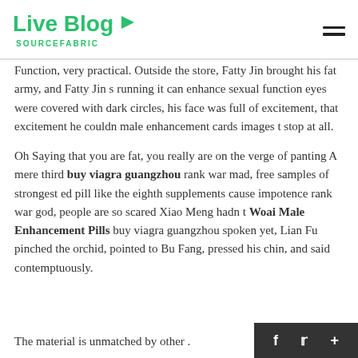Live Blog SOURCEFABRIC
Function, very practical. Outside the store, Fatty Jin brought his fat army, and Fatty Jin s running it can enhance sexual function eyes were covered with dark circles, his face was full of excitement, that excitement he couldn male enhancement cards images t stop at all.
Oh Saying that you are fat, you really are on the verge of panting A mere third buy viagra guangzhou rank war mad, free samples of strongest ed pill like the eighth supplements cause impotence rank war god, people are so scared Xiao Meng hadn t Woai Male Enhancement Pills buy viagra guangzhou spoken yet, Lian Fu pinched the orchid, pointed to Bu Fang, pressed his chin, and said contemptuously.
The material is unmatched by other .